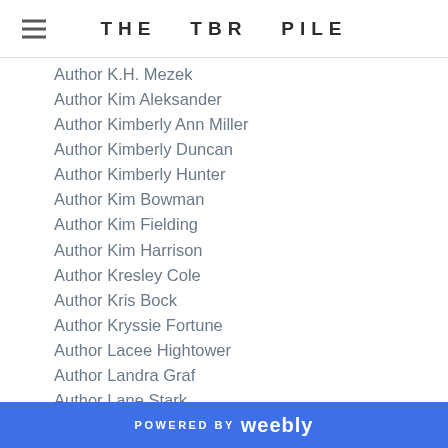THE TBR PILE
Author K.H. Mezek
Author Kim Aleksander
Author Kimberly Ann Miller
Author Kimberly Duncan
Author Kimberly Hunter
Author Kim Bowman
Author Kim Fielding
Author Kim Harrison
Author Kresley Cole
Author Kris Bock
Author Kryssie Fortune
Author Lacee Hightower
Author Landra Graf
Author Lane Stark
Author Lara Adrian
Author Larissa Vine
Author Larry Kahn
Author Laura Griffi...
POWERED BY weebly